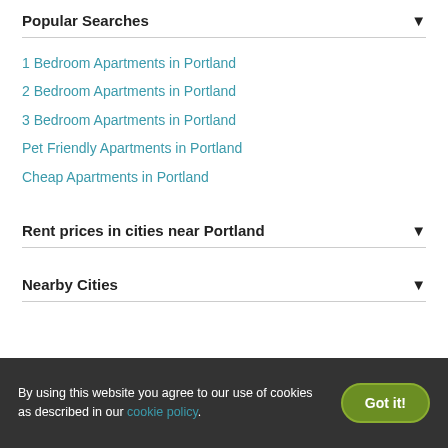Popular Searches
1 Bedroom Apartments in Portland
2 Bedroom Apartments in Portland
3 Bedroom Apartments in Portland
Pet Friendly Apartments in Portland
Cheap Apartments in Portland
Rent prices in cities near Portland
Nearby Cities
By using this website you agree to our use of cookies as described in our cookie policy.